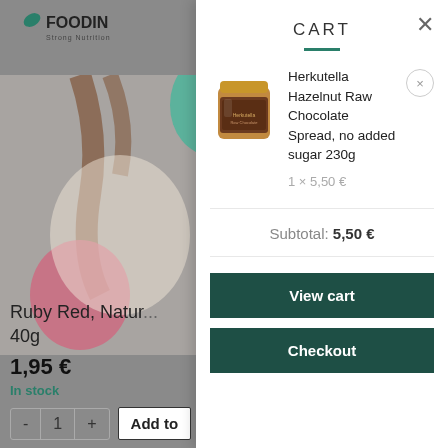[Figure (screenshot): Foodin logo with brand name and tagline in dark teal color]
[Figure (photo): Dimmed product page background showing a colorful package with brown chocolate drip design and teal/pink decorative elements]
Ruby Red, Natur... 40g
1,95 €
In stock
- 1 + Add to
CART
[Figure (photo): Jar of Herkutella Hazelnut Raw Chocolate Spread with gold lid, brown label]
Herkutella Hazelnut Raw Chocolate Spread, no added sugar 230g
1 × 5,50 €
Subtotal: 5,50 €
View cart
Checkout